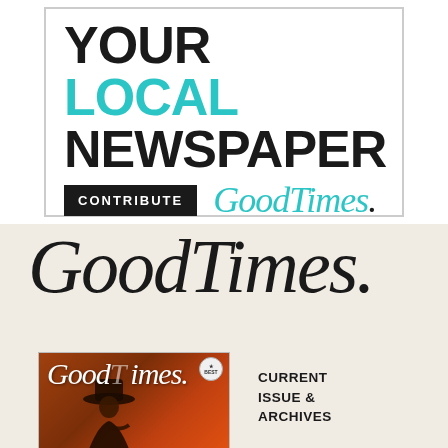[Figure (illustration): Advertisement banner with bold text reading 'SUPPORT YOUR LOCAL NEWSPAPER', a black 'CONTRIBUTE' button, and GoodTimes script logo in teal on white background with grey border.]
[Figure (logo): Large GoodTimes script logo in black on cream/beige background]
[Figure (photo): Magazine cover thumbnail showing GoodTimes script title in white on orange/red background with silhouette of a person wearing a hat]
CURRENT ISSUE & ARCHIVES